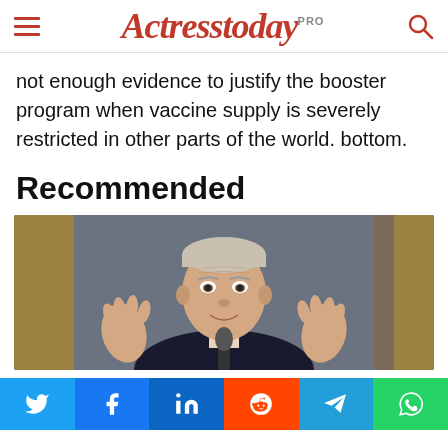Actresstoday PRO
not enough evidence to justify the booster program when vaccine supply is severely restricted in other parts of the world. bottom.
Recommended
[Figure (photo): Man speaking with hands raised, appears to be giving a speech in an ornate room with gold decorative elements in the background.]
Social share buttons: Twitter, Facebook, LinkedIn, Reddit, Telegram, WhatsApp